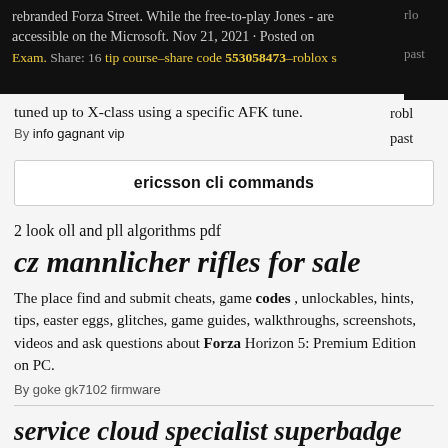rebranded Forza Street. While the free-to-play Jones - are accessible on the Microsoft. Nov 21, 2021 · Posted on Exam. Share: 16 tip course–share code 553058473–roblox s
tuned up to X-class using a specific AFK tune.
By info gagnant vip
roblox
paste
ericsson cli commands
2 look oll and pll algorithms pdf
cz mannlicher rifles for sale
The place find and submit cheats, game codes , unlockables, hints, tips, easter eggs, glitches, game guides, walkthroughs, screenshots, videos and ask questions about Forza Horizon 5: Premium Edition on PC.
By goke gk7102 firmware
service cloud specialist superbadge solution
(Achievement) Share code - 138 160 157. Depending on how many